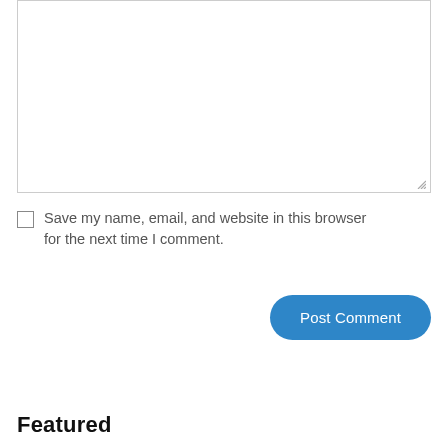[Figure (screenshot): A textarea input box with a resize handle at bottom-right corner]
Save my name, email, and website in this browser for the next time I comment.
Post Comment
Featured